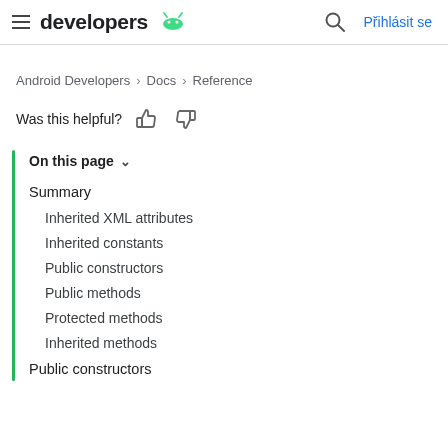developers  Přihlásit se
Android Developers > Docs > Reference
Was this helpful?
On this page ∨
Summary
Inherited XML attributes
Inherited constants
Public constructors
Public methods
Protected methods
Inherited methods
Public constructors